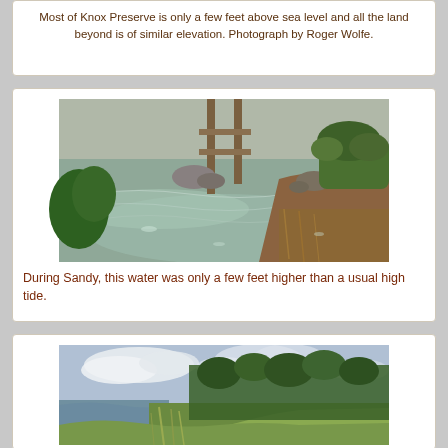Most of Knox Preserve is only a few feet above sea level and all the land beyond is of similar elevation. Photograph by Roger Wolfe.
[Figure (photo): Water scene beneath a wooden dock/bridge structure with rocks, green vegetation and shoreline visible. Calm tidal water in foreground.]
During Sandy, this water was only a few feet higher than a usual high tide.
[Figure (photo): Coastal landscape with a grassy path along a calm water body, trees in background against a partly cloudy sky.]